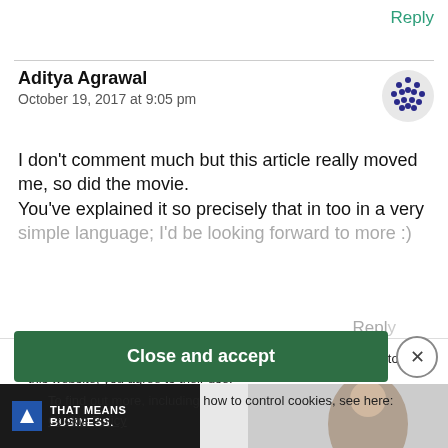Reply
Aditya Agrawal
October 19, 2017 at 9:05 pm
[Figure (illustration): Avatar icon with blue dot pattern on white/grey circle background]
I don't comment much but this article really moved me, so did the movie.
You've explained it so precisely that in too in a very simple language; I'd be looking forward to more :)
Privacy & Cookies: This site uses cookies. By continuing to use this website, you agree to their use.
To find out more, including how to control cookies, see here:
Cookie Policy
Reply
Close and accept
[Figure (photo): Advertisement banner at bottom: dark background with 'THAT MEANS BUSINESS.' text and partial image of a person]